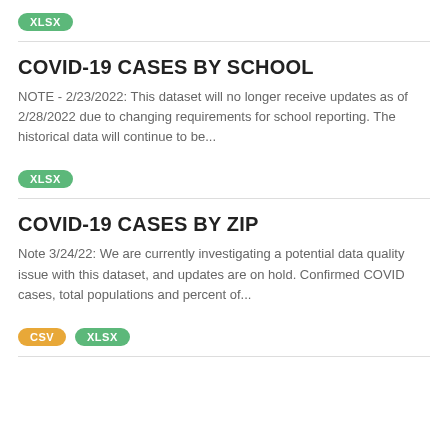XLSX
COVID-19 CASES BY SCHOOL
NOTE - 2/23/2022: This dataset will no longer receive updates as of 2/28/2022 due to changing requirements for school reporting. The historical data will continue to be...
XLSX
COVID-19 CASES BY ZIP
Note 3/24/22: We are currently investigating a potential data quality issue with this dataset, and updates are on hold. Confirmed COVID cases, total populations and percent of...
CSV  XLSX